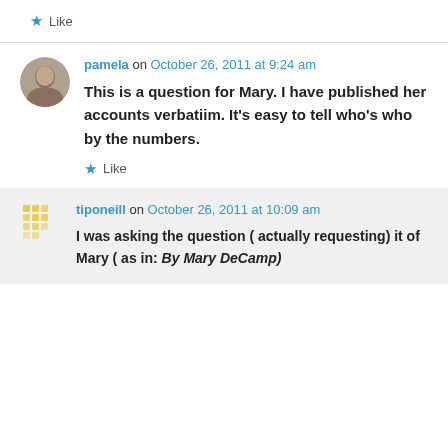★ Like
pamela on October 26, 2011 at 9:24 am
This is a question for Mary. I have published her accounts verbatiim. It's easy to tell who's who by the numbers.
★ Like
tiponeill on October 26, 2011 at 10:09 am
I was asking the question ( actually requesting) it of Mary ( as in: By Mary DeCamp)